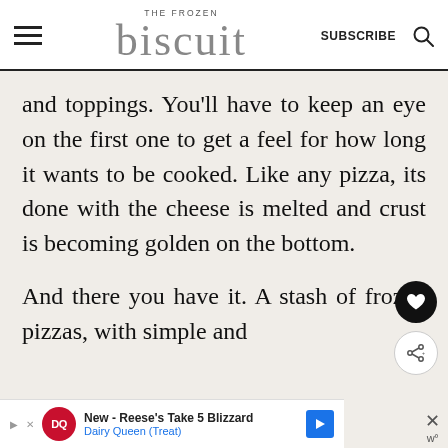THE FROZEN biscuit  SUBSCRIBE
and toppings. You'll have to keep an eye on the first one to get a feel for how long it wants to be cooked. Like any pizza, its done with the cheese is melted and crust is becoming golden on the bottom.
And there you have it. A stash of frozen pizzas, with simple and
[Figure (other): Advertisement banner for Dairy Queen - New Reese's Take 5 Blizzard with DQ logo and navigation arrow]